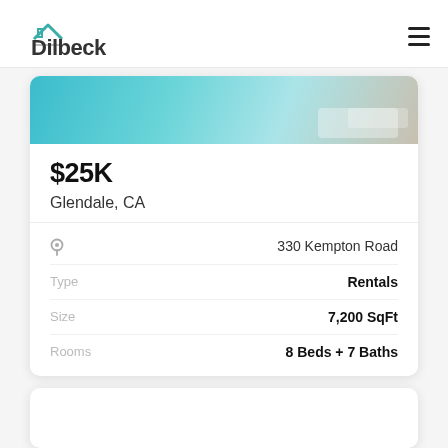Dilbeck Real Estate
[Figure (photo): Partial property image showing teal/blue tones, partially cropped at top of card]
$25K
Glendale, CA
|  |  |
| --- | --- |
| 📍 | 330 Kempton Road |
| Type | Rentals |
| Size | 7,200 SqFt |
| Rooms | 8 Beds + 7 Baths |